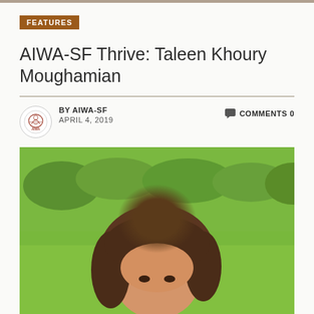FEATURES
AIWA-SF Thrive: Taleen Khoury Moughamian
BY AIWA-SF   APRIL 4, 2019     COMMENTS 0
[Figure (photo): Outdoor photo of a woman with long brown hair in a garden/lawn setting with green grass and shrubs in background]